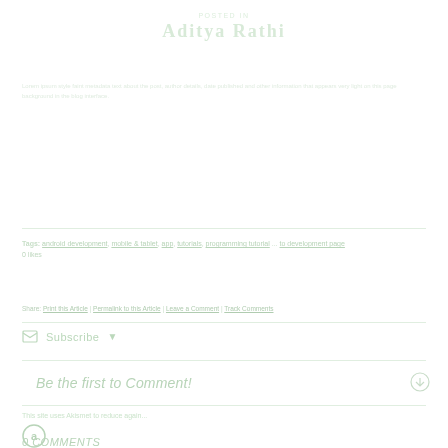Aditya Rathi
Tags: various tag links | Share: Facebook, Twitter, etc.
Subscribe
Be the first to Comment!
This site uses Akismet to reduce again...
0 COMMENTS